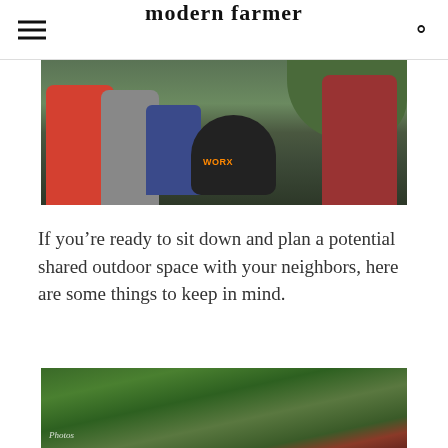modern farmer
[Figure (photo): Children and an adult gathered around a WORX brand outdoor chipper/shredder machine in a wooded garden setting. Kids wearing colorful jackets.]
If you’re ready to sit down and plan a potential shared outdoor space with your neighbors, here are some things to keep in mind.
[Figure (photo): Lush green garden or orchard scene with trees and foliage, partial view of a red ladder.]